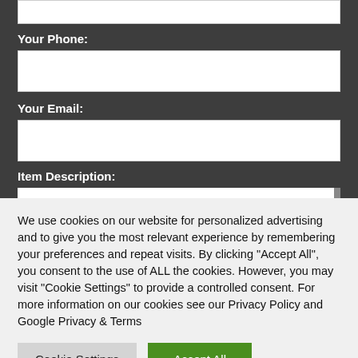Your Phone:
Your Email:
Item Description:
We use cookies on our website for personalized advertising and to give you the most relevant experience by remembering your preferences and repeat visits. By clicking “Accept All”, you consent to the use of ALL the cookies. However, you may visit "Cookie Settings" to provide a controlled consent. For more information on our cookies see our Privacy Policy and Google Privacy & Terms
Cookie Settings
Accept All